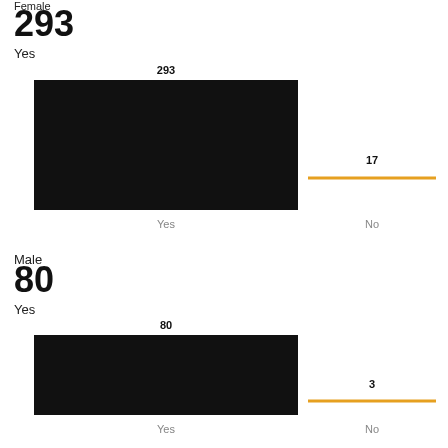Female
293
Yes
[Figure (bar-chart): Female Yes/No]
Male
80
Yes
[Figure (bar-chart): Male Yes/No]